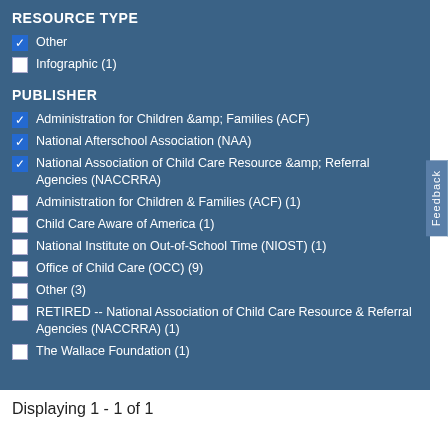RESOURCE TYPE
Other (checked)
Infographic (1)
PUBLISHER
Administration for Children &amp; Families (ACF) (checked)
National Afterschool Association (NAA) (checked)
National Association of Child Care Resource &amp; Referral Agencies (NACCRRA) (checked)
Administration for Children & Families (ACF) (1)
Child Care Aware of America (1)
National Institute on Out-of-School Time (NIOST) (1)
Office of Child Care (OCC) (9)
Other (3)
RETIRED -- National Association of Child Care Resource & Referral Agencies (NACCRRA) (1)
The Wallace Foundation (1)
Displaying 1 - 1 of 1